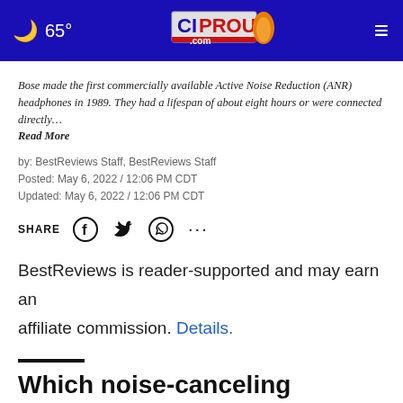65° CIProud.com
Bose made the first commercially available Active Noise Reduction (ANR) headphones in 1989. They had a lifespan of about eight hours or were connected directly… Read More
by: BestReviews Staff, BestReviews Staff
Posted: May 6, 2022 / 12:06 PM CDT
Updated: May 6, 2022 / 12:06 PM CDT
SHARE
BestReviews is reader-supported and may earn an affiliate commission. Details.
Which noise-canceling earbuds are best?